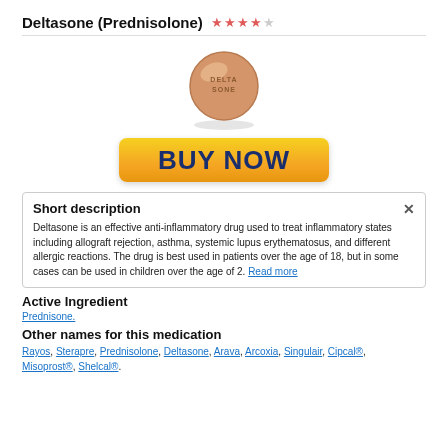Deltasone (Prednisolone) ★★★★☆
[Figure (photo): Round peach/salmon colored pill tablet with DELTASONE imprinted on its face, viewed from above with slight shadow]
[Figure (other): Yellow gradient Buy Now button]
Short description
Deltasone is an effective anti-inflammatory drug used to treat inflammatory states including allograft rejection, asthma, systemic lupus erythematosus, and different allergic reactions. The drug is best used in patients over the age of 18, but in some cases can be used in children over the age of 2. Read more
Active Ingredient
Prednisone.
Other names for this medication
Rayos, Sterapre, Prednisolone, Deltasone, Arava, Arcoxia, Singulair, Cipcal®, Misoprost®, Shelcal®.